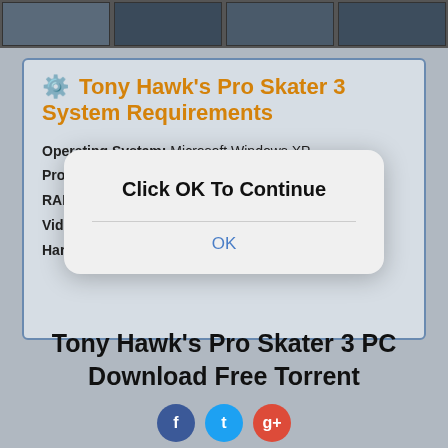[Figure (screenshot): Row of four dark game screenshot thumbnails at the top of the page]
⚙️ Tony Hawk's Pro Skater 3 System Requirements
Operating System: Microsoft Windows XP
Processor: Pentium III 500 MHz or Athlon
RAM: 64 MB
Video Card: 16 MB
Hard disk space: 700 MB
[Figure (screenshot): Modal dialog overlay with text 'Click OK To Continue' and an OK button]
Tony Hawk's Pro Skater 3 PC Download Free Torrent
[Figure (infographic): Social sharing icons: Facebook (blue), Twitter (teal), Google+ (red)]